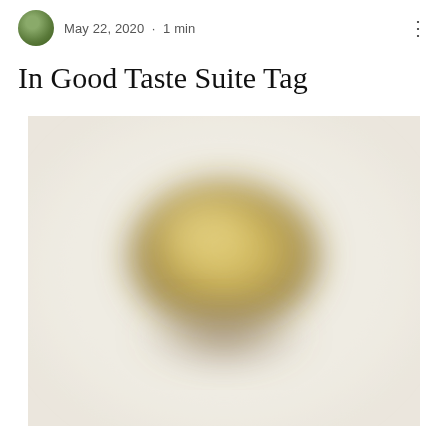May 22, 2020 · 1 min
In Good Taste Suite Tag
[Figure (photo): A blurry/out-of-focus photograph of what appears to be a food item, possibly a pastry or baked good, with golden-yellow coloring in the center and a soft white background. The image is low resolution and heavily blurred.]